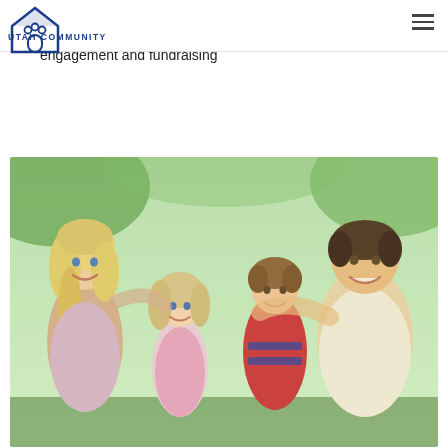UTAH COMMUNITY
Creating a favorable environment for community land trust development by promoting public policy, community engagement and fundraising
[Figure (photo): A smiling family of four (mother, daughter, son, father) embracing outdoors with green foliage in the background]